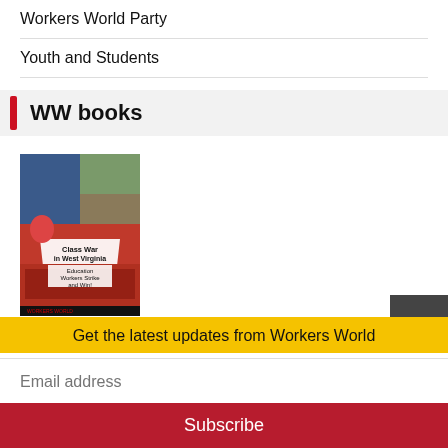Workers World Party
Youth and Students
WW books
[Figure (photo): Book cover: Class War in West Virginia – Education Workers Strike and Win, showing protest photos collage]
Class War in W.Va.: Education Workers Strike, Win
Get the latest updates from Workers World
Email address
Subscribe